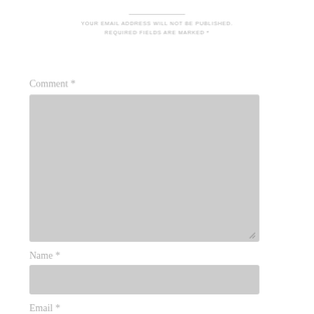YOUR EMAIL ADDRESS WILL NOT BE PUBLISHED. REQUIRED FIELDS ARE MARKED *
Comment *
[Figure (other): Large textarea input field with gray background and resize handle]
Name *
[Figure (other): Single-line text input field with gray background for Name]
Email *